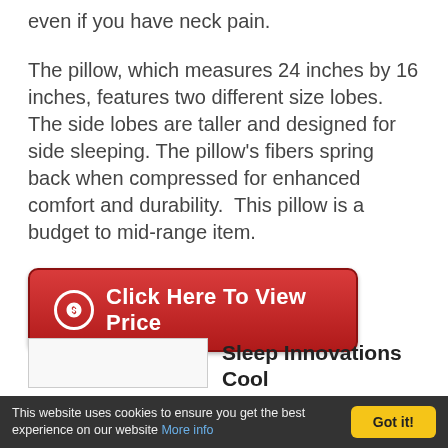even if you have neck pain.
The pillow, which measures 24 inches by 16 inches, features two different size lobes.  The side lobes are taller and designed for side sleeping. The pillow’s fibers spring back when compressed for enhanced comfort and durability.  This pillow is a budget to mid-range item.
[Figure (other): Red button with dollar sign icon and text 'Click Here To View Price']
[Figure (other): Partial image thumbnail placeholder at bottom left]
Sleep Innovations Cool
This website uses cookies to ensure you get the best experience on our website More info | Got it!